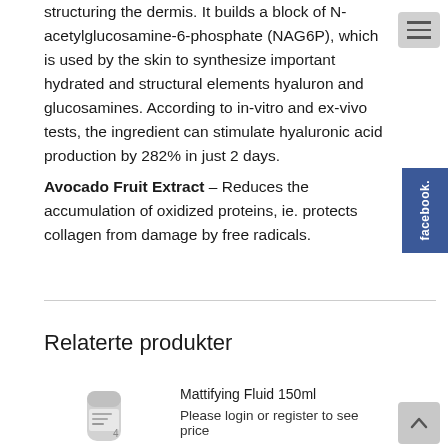structuring the dermis. It builds a block of N-acetylglucosamine-6-phosphate (NAG6P), which is used by the skin to synthesize important hydrated and structural elements hyaluron and glucosamines. According to in-vitro and ex-vivo tests, the ingredient can stimulate hyaluronic acid production by 282% in just 2 days.
Avocado Fruit Extract – Reduces the accumulation of oxidized proteins, ie. protects collagen from damage by free radicals.
Relaterte produkter
[Figure (photo): Product image of a tube (Mattifying Fluid 150ml)]
Mattifying Fluid 150ml
Please login or register to see price